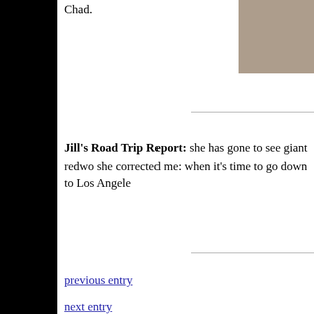Chad.
[Figure (photo): Partial photo visible in upper right corner, appears to show a person or statue in gray tones]
Jill's Road Trip Report: she has gone to see giant redwo she corrected me: when it's time to go down to Los Angele
previous entry
next entry
To list of entries for 2010
To Home (Index) page